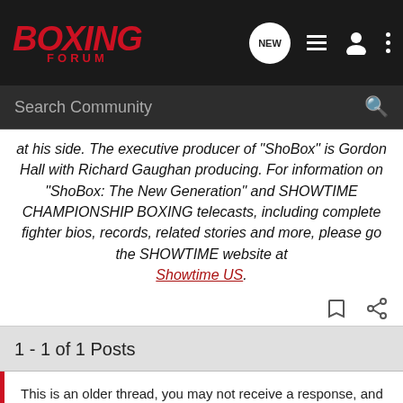BOXING FORUM
at his side. The executive producer of "ShoBox" is Gordon Hall with Richard Gaughan producing. For information on "ShoBox: The New Generation" and SHOWTIME CHAMPIONSHIP BOXING telecasts, including complete fighter bios, records, related stories and more, please go the SHOWTIME website at Showtime US.
1 - 1 of 1 Posts
This is an older thread, you may not receive a response, and could be reviving an old thread. Please consider creating a new thread.